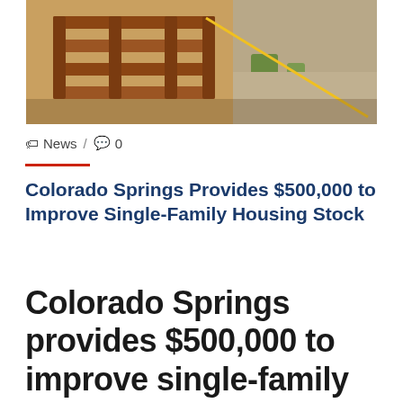[Figure (photo): Construction photo showing wooden framing/foundation work with lumber and sand, partial view of building under construction]
🏷 News / 💬 0
Colorado Springs Provides $500,000 to Improve Single-Family Housing Stock
Colorado Springs provides $500,000 to improve single-family housing stock